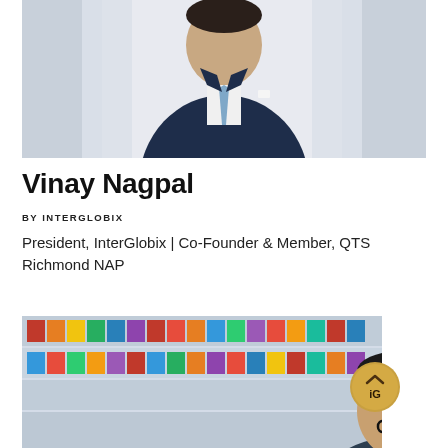[Figure (photo): Professional headshot of Vinay Nagpal in a dark navy suit with a blue tie, standing in a bright office environment with columns in the background.]
Vinay Nagpal
BY INTERGLOBIX
President, InterGlobix | Co-Founder & Member, QTS Richmond NAP
[Figure (photo): Professional photo of a person wearing glasses in an office/library setting with colorful binders/books on shelves in the background, partially cropped.]